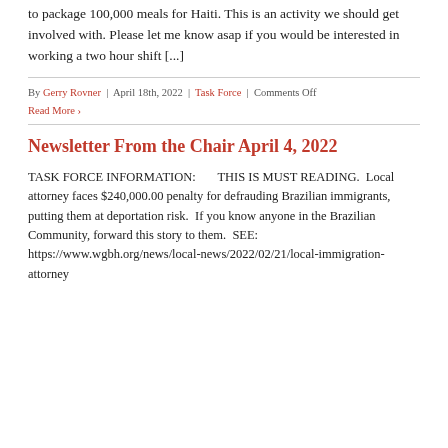to package 100,000 meals for Haiti.  This is an activity we should get involved with.  Please let me know asap if you would be interested in working a two hour shift [...]
By Gerry Rovner | April 18th, 2022 | Task Force | Comments Off
Read More ›
Newsletter From the Chair April 4, 2022
TASK FORCE INFORMATION:        THIS IS MUST READING.  Local attorney faces $240,000.00 penalty for defrauding Brazilian immigrants, putting them at deportation risk.  If you know anyone in the Brazilian Community, forward this story to them.  SEE: https://www.wgbh.org/news/local-news/2022/02/21/local-immigration-attorney